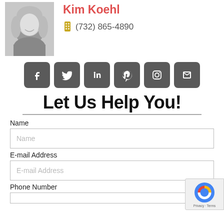[Figure (photo): Black and white headshot photo of Kim Koehl, a blonde woman smiling]
Kim Koehl
(732) 865-4890
[Figure (infographic): Row of 6 social media icon buttons: Facebook, Twitter, LinkedIn, Pinterest, Instagram, and a contact/envelope icon, all with dark grey rounded square backgrounds]
Let Us Help You!
Name
Name (input placeholder)
E-mail Address
E-mail Address (input placeholder)
Phone Number